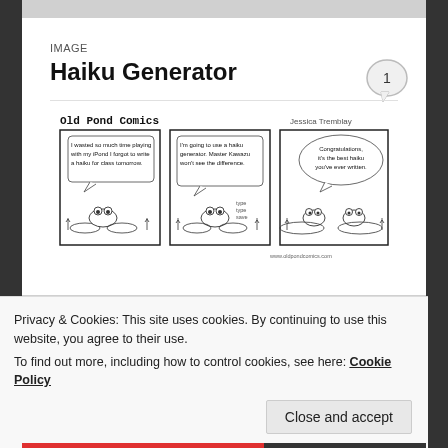IMAGE
Haiku Generator
[Figure (illustration): Old Pond Comics strip by Jessica Tremblay showing three panels with cartoon frogs. Panel 1: frog says 'I wasted so much time playing with my iPond I forgot to write a haiku for class tomorrow.' Panel 2: frog says 'I'm going to use a haiku generator. Master Kawazu won't see the difference.' with 'type type save' text. Panel 3: speech bubble says 'Congratulations, it's the best haiku you've ever written.' Website: www.oldpondcomics.com]
Privacy & Cookies: This site uses cookies. By continuing to use this website, you agree to their use.
To find out more, including how to control cookies, see here: Cookie Policy
Close and accept